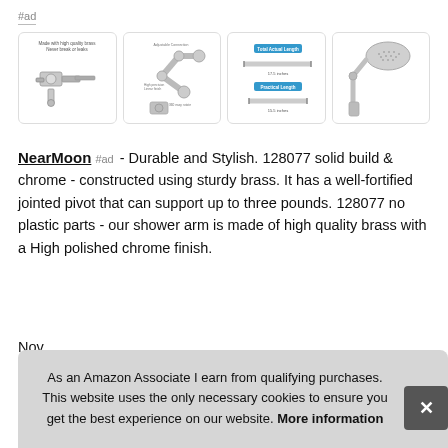#ad
[Figure (photo): Four product images showing chrome bathroom fixtures: 1) chrome angle valve with text 'Made with high quality brass Never break or leaks', 2) adjustable chrome shower arm, 3) diagram showing Total Actual Length and Practical Length measurements, 4) chrome rain shower head with arm]
NearMoon #ad - Durable and Stylish. 128077 solid build & chrome - constructed using sturdy brass. It has a well-fortified jointed pivot that can support up to three pounds. 128077 no plastic parts - our shower arm is made of high quality brass with a High polished chrome finish.
Nov
pro
you
your
As an Amazon Associate I earn from qualifying purchases. This website uses the only necessary cookies to ensure you get the best experience on our website. More information